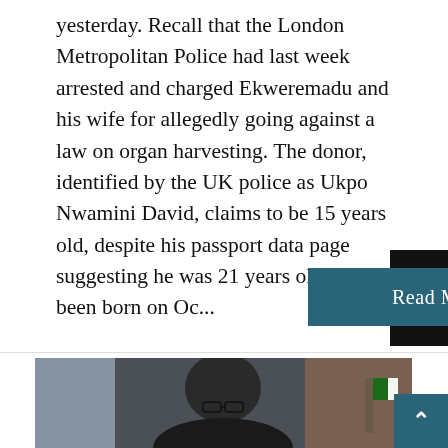yesterday. Recall that the London Metropolitan Police had last week arrested and charged Ekweremadu and his wife for allegedly going against a law on organ harvesting. The donor, identified by the UK police as Ukpo Nwamini David, claims to be 15 years old, despite his passport data page suggesting he was 21 years old having been born on Oc...
[Figure (photo): Portrait photo of a person wearing glasses, with a Nigerian flag visible in the background, in front of a blurred indoor setting]